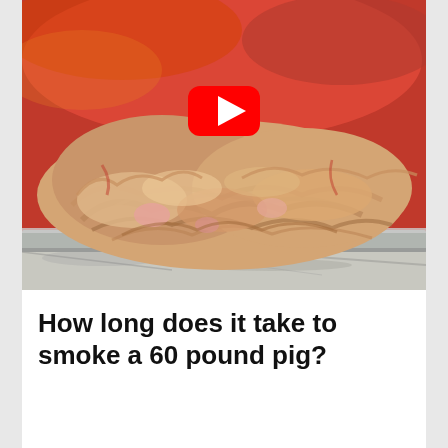[Figure (screenshot): A tray of pulled/shredded cooked pork meat with red BBQ sauce visible in the background, shown as a YouTube video thumbnail with a red play button overlay in the center.]
How long does it take to smoke a 60 pound pig?